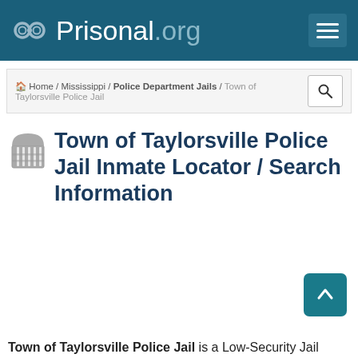Prisonal.org
Home / Mississippi / Police Department Jails / Town of Taylorsville Police Jail
Town of Taylorsville Police Jail Inmate Locator / Search Information
Town of Taylorsville Police Jail is a Low-Security Jail